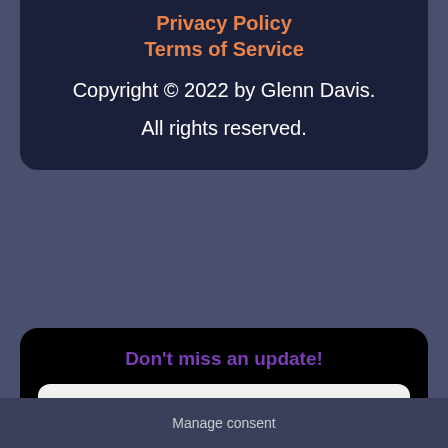Privacy Policy
Terms of Service
Copyright © 2022 by Glenn Davis.
All rights reserved.
Don't miss an update!
Email Address *
SEND ME UPDATES!
Manage consent